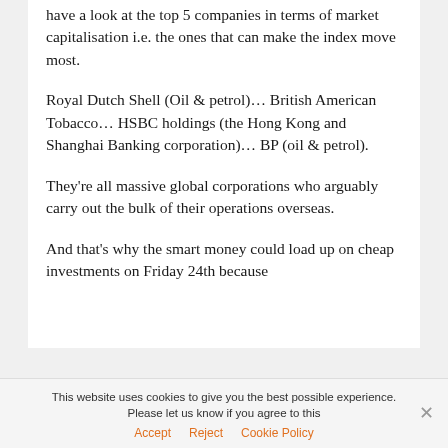have a look at the top 5 companies in terms of market capitalisation i.e. the ones that can make the index move most.
Royal Dutch Shell (Oil & petrol)… British American Tobacco… HSBC holdings (the Hong Kong and Shanghai Banking corporation)… BP (oil & petrol).
They're all massive global corporations who arguably carry out the bulk of their operations overseas.
And that's why the smart money could load up on cheap investments on Friday 24th because
This website uses cookies to give you the best possible experience. Please let us know if you agree to this
Accept   Reject   Cookie Policy